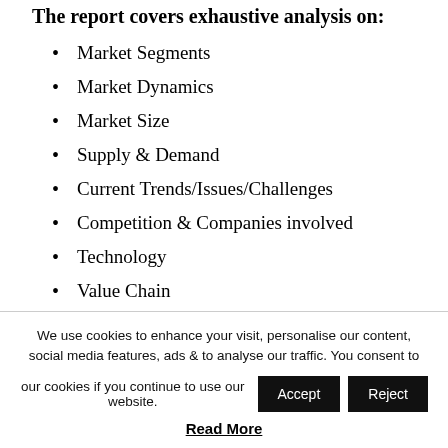The report covers exhaustive analysis on:
Market Segments
Market Dynamics
Market Size
Supply & Demand
Current Trends/Issues/Challenges
Competition & Companies involved
Technology
Value Chain
The Market insights of Clothes Closets will improve
We use cookies to enhance your visit, personalise our content, social media features, ads & to analyse our traffic. You consent to our cookies if you continue to use our website. Accept Reject Read More